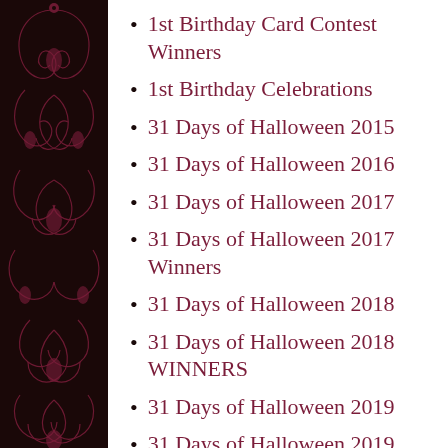1st Birthday Card Contest Winners
1st Birthday Celebrations
31 Days of Halloween 2015
31 Days of Halloween 2016
31 Days of Halloween 2017
31 Days of Halloween 2017 Winners
31 Days of Halloween 2018
31 Days of Halloween 2018 WINNERS
31 Days of Halloween 2019
31 Days of Halloween 2019 WINNERS
This stunni
S